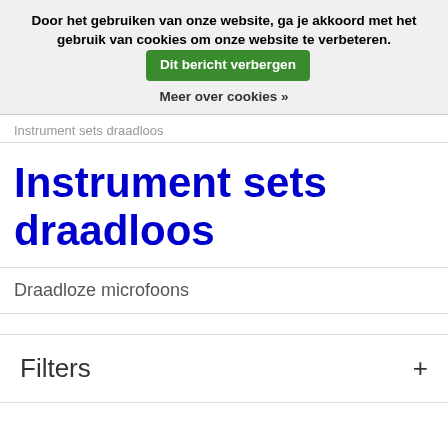Door het gebruiken van onze website, ga je akkoord met het gebruik van cookies om onze website te verbeteren. Dit bericht verbergen
Meer over cookies »
Instrument sets draadloos
Instrument sets draadloos
Draadloze microfoons
Filters +
Pagina 1 van 2 Sorteren op: Standaard